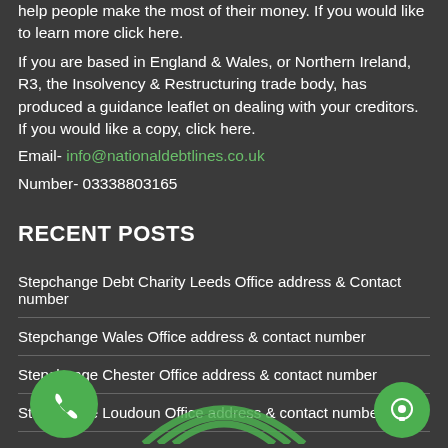help people make the most of their money. If you would like to learn more click here.
If you are based in England & Wales, or Northern Ireland, R3, the Insolvency & Restructuring trade body, has produced a guidance leaflet on dealing with your creditors. If you would like a copy, click here.
Email- info@nationaldebtlines.co.uk
Number- 03338803165
RECENT POSTS
Stepchange Debt Charity Leeds Office address & Contact number
Stepchange Wales Office address & contact number
Stepchange Chester Office address & contact number
Stepchange Loudoun Office address & contact number